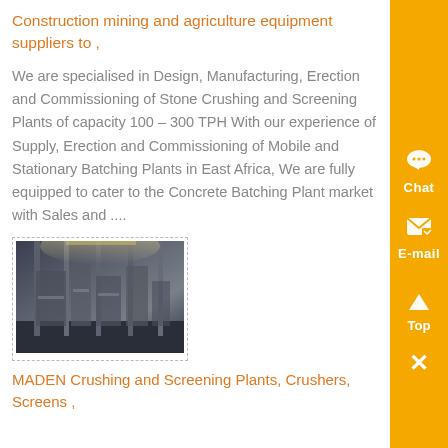Construction mining and agriculture equipment suppliers to ,
We are specialised in Design, Manufacturing, Erection and Commissioning of Stone Crushing and Screening Plants of capacity 100 – 300 TPH With our experience of Supply, Erection and Commissioning of Mobile and Stationary Batching Plants in East Africa, We are fully equipped to cater to the Concrete Batching Plant market with Sales and ....
[Figure (photo): Industrial interior photo showing large machinery/plant equipment inside a warehouse or factory building with tall structural columns and overhead lighting.]
MADEN Crushing and Screening Plants, Crushers, Screens ,